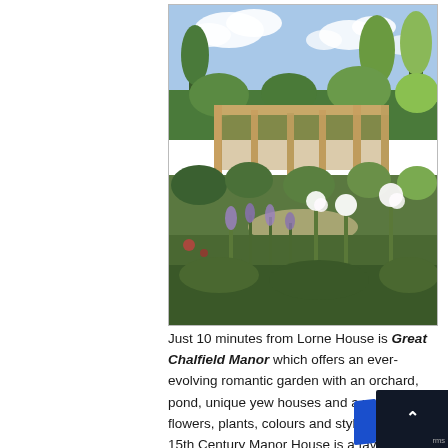[Figure (photo): Photograph of Great Chalfield Manor garden showing a pergola/loggia structure with stone columns, surrounded by lush greenery, flowering plants including white and purple flowers in the foreground, and trees against a partly cloudy blue sky.]
Just 10 minutes from Lorne House is Great Chalfield Manor which offers an ever-evolving romantic garden with an orchard, pond, unique yew houses and a variety of flowers, plants, colours and styles. The 15th Century Manor House is a favourite location